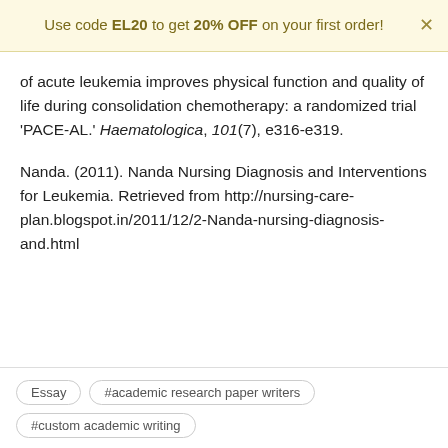Use code EL20 to get 20% OFF on your first order!
of acute leukemia improves physical function and quality of life during consolidation chemotherapy: a randomized trial 'PACE-AL.' Haematologica, 101(7), e316-e319.
Nanda. (2011). Nanda Nursing Diagnosis and Interventions for Leukemia. Retrieved from http://nursing-care-plan.blogspot.in/2011/12/2-Nanda-nursing-diagnosis-and.html
Essay   #academic research paper writers   #custom academic writing